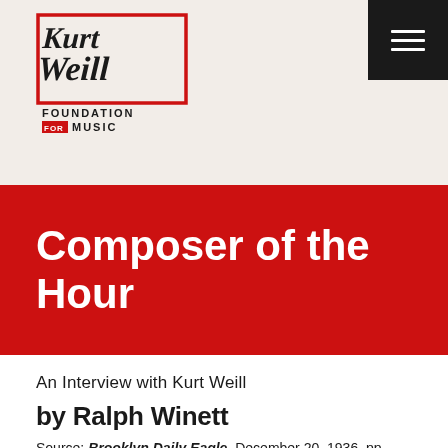Kurt Weill Foundation for Music
Composer of the Hour
An Interview with Kurt Weill
by Ralph Winett
Source: Brooklyn Daily Eagle, December 20, 1936, pp.